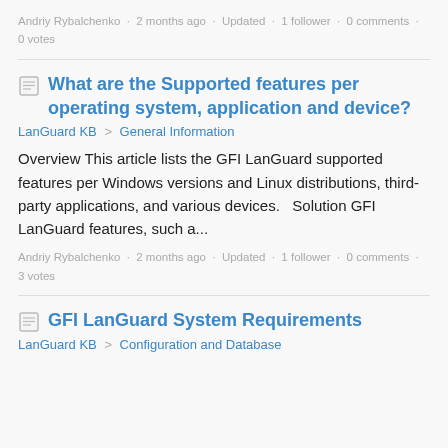Andriy Rybalchenko · 2 months ago · Updated · 1 follower · 0 comments · 0 votes
What are the Supported features per operating system, application and device?
LanGuard KB > General Information
Overview This article lists the GFI LanGuard supported features per Windows versions and Linux distributions, third-party applications, and various devices.   Solution GFI LanGuard features, such a...
Andriy Rybalchenko · 2 months ago · Updated · 1 follower · 0 comments · 3 votes
GFI LanGuard System Requirements
LanGuard KB > Configuration and Database